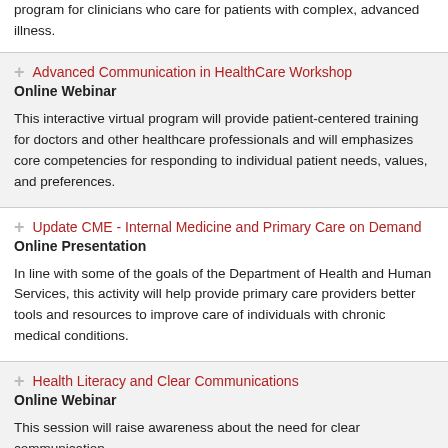program for clinicians who care for patients with complex, advanced illness.
Advanced Communication in HealthCare Workshop
Online Webinar
This interactive virtual program will provide patient-centered training for doctors and other healthcare professionals and will emphasizes core competencies for responding to individual patient needs, values, and preferences.
Update CME - Internal Medicine and Primary Care on Demand
Online Presentation
In line with some of the goals of the Department of Health and Human Services, this activity will help provide primary care providers better tools and resources to improve care of individuals with chronic medical conditions.
Health Literacy and Clear Communications
Online Webinar
This session will raise awareness about the need for clear communication